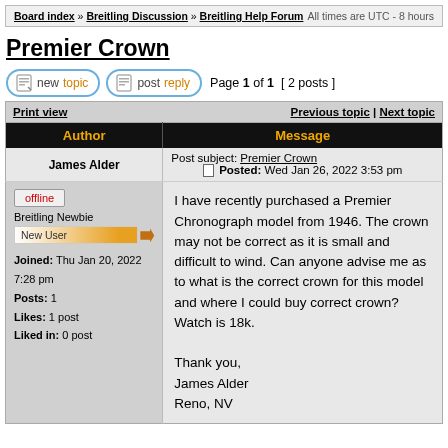Board index » Breitling Discussion » Breitling Help Forum   All times are UTC - 8 hours
Premier Crown
Page 1 of 1  [ 2 posts ]
| Author | Message |
| --- | --- |
| James Alder | Post subject: Premier Crown
Posted: Wed Jan 26, 2022 3:53 pm |
| offline
Breitling Newbie
New User
Joined: Thu Jan 20, 2022 7:28 pm
Posts: 1
Likes: 1 post
Liked in: 0 post | I have recently purchased a Premier Chronograph model from 1946. The crown may not be correct as it is small and difficult to wind. Can anyone advise me as to what is the correct crown for this model and where I could buy correct crown? Watch is 18k.
Thank you,
James Alder
Reno, NV |